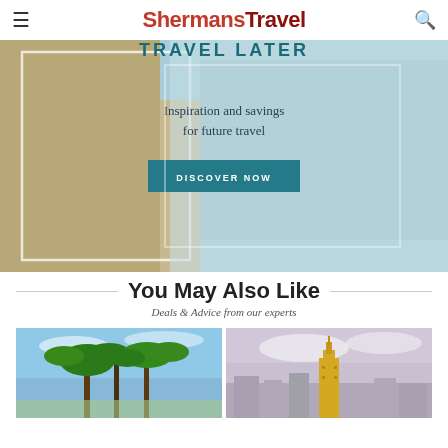ShermansTravel
[Figure (illustration): Travel advertisement banner showing beach scene with text 'TRAVEL LATER', 'Inspiration and savings for future travel', and a 'DISCOVER NOW' button on teal background]
You May Also Like
Deals & Advice from our experts
[Figure (photo): Tropical scene with blue sky and palm trees]
[Figure (photo): City skyline with Empire State Building against cloudy sky]